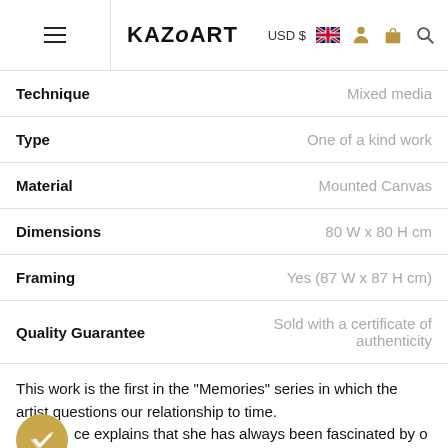KAZoART  USD $  [UK flag]  [person icon]  [bag icon]  [search icon]
| Property | Value |
| --- | --- |
| Technique | Mixed media |
| Type | One of a kind work |
| Material | Mounted Canvas |
| Dimensions | 80 W x 80 H cm |
| Framing | Yes (87 W x 87 H cm) |
| Quality Guarantee | Sold with a certificate of authenticity |
This work is the first in the "Memories" series in which the artist questions our relationship to time. Laurence explains that she has always been fascinated by old decrepit walls. For their appearance, which she seeks to recover here, and for their "memory" what they have...